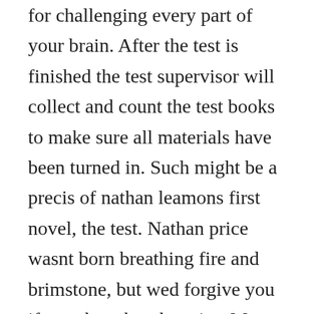for challenging every part of your brain. After the test is finished the test supervisor will collect and count the test books to make sure all materials have been turned in. Such might be a precis of nathan leamons first novel, the test. Nathan price wasnt born breathing fire and brimstone, but wed forgive you if you thought otherwise. Many book tests try to duplicate the original tru test but fail. I have changed very little, even using the majority of the original text. The test by nathan leamon hachette uk little, brown book group.
This might not be the end, but there here are...